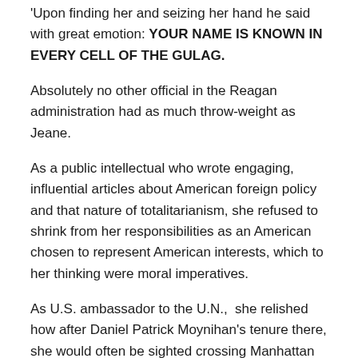'Upon finding her and seizing her hand he said with great emotion: YOUR NAME IS KNOWN IN EVERY CELL OF THE GULAG.
Absolutely no other official in the Reagan administration had as much throw-weight as Jeane.
As a public intellectual who wrote engaging, influential articles about American foreign policy and that nature of totalitarianism, she refused to shrink from her responsibilities as an American chosen to represent American interests, which to her thinking were moral imperatives.
As U.S. ambassador to the U.N.,  she relished how after Daniel Patrick Moynihan's tenure there, she would often be sighted crossing Manhattan avenues where traffic would stop and New Yawkers scream:  “Give’m Hell